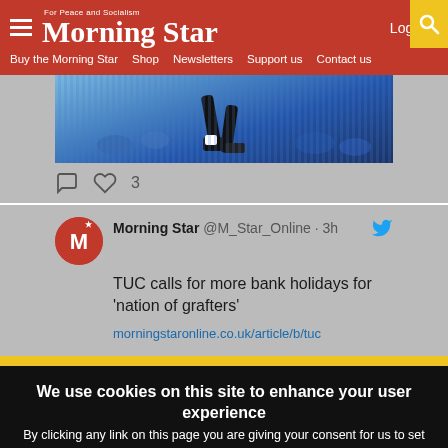Morning Star - Log in - Buy the Morning Star - Shop - Newsletters - Support us - Contact us
[Figure (photo): Sports photo showing legs of a player running, with crowd in background]
♡ 3
Morning Star @M_Star_Online · 3h
TUC calls for more bank holidays for 'nation of grafters'
morningstaronline.co.uk/article/b/tuc
We use cookies on this site to enhance your user experience
By clicking any link on this page you are giving your consent for us to set cookies.
No, give me more info
OK, I agree